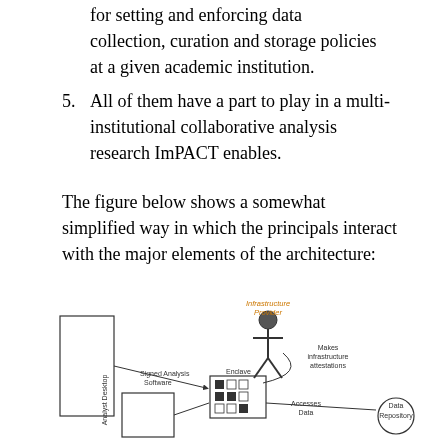for setting and enforcing data collection, curation and storage policies at a given academic institution.
5. All of them have a part to play in a multi-institutional collaborative analysis research ImPACT enables.
The figure below shows a somewhat simplified way in which the principals interact with the major elements of the architecture:
[Figure (schematic): Architecture diagram showing principals interacting with major elements: Software Repo box on left with Signed Analysis Software label, Infrastructure Provider stick figure at top center with 'Makes infrastructure attestations' label, Enclave box in center with grid of squares, Analyst Desktop box on lower left with 'Accesses Data' label, and Data Repository circle on lower right.]